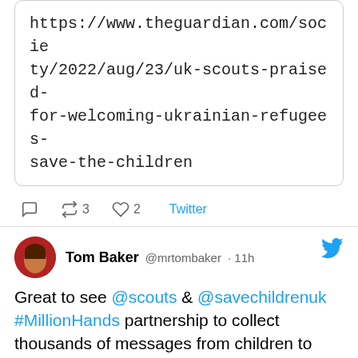https://www.theguardian.com/society/2022/aug/23/uk-scouts-praised-for-welcoming-ukrainian-refugees-save-the-children
reply 0  retweet 3  like 2  Twitter
Tom Baker @mrtombaker · 11h
Great to see @scouts & @savechildrenuk #MillionHands partnership to collect thousands of messages from children to welcome refugees arriving here in the UK in today paper. Grateful to all the young people who have taken part.

More here >>
https://www.theguardian.com/society/